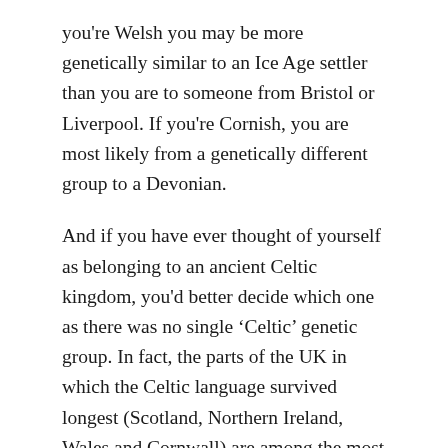you're Welsh you may be more genetically similar to an Ice Age settler than you are to someone from Bristol or Liverpool. If you're Cornish, you are most likely from a genetically different group to a Devonian.
And if you have ever thought of yourself as belonging to an ancient Celtic kingdom, you'd better decide which one as there was no single 'Celtic' genetic group. In fact, the parts of the UK in which the Celtic language survived longest (Scotland, Northern Ireland, Wales and Cornwall) are among the most different from each other genetically.
While our ancestral history is very interesting, it is not the primary purpose of the research study. Instead, the research group, led by Sir Walter Bodmer and Professor